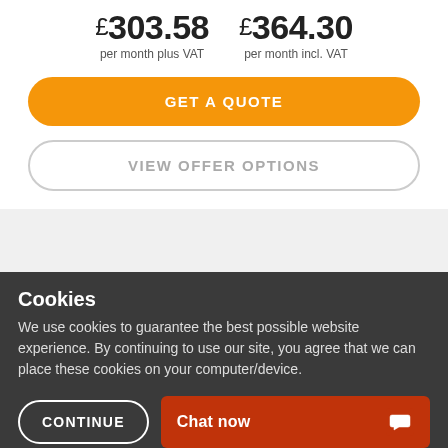£303.58 per month plus VAT
£364.30 per month incl. VAT
GET A QUOTE
VIEW OFFER OPTIONS
Cookies
We use cookies to guarantee the best possible website experience. By continuing to use our site, you agree that we can place these cookies on your computer/device.
CONTINUE
Chat now